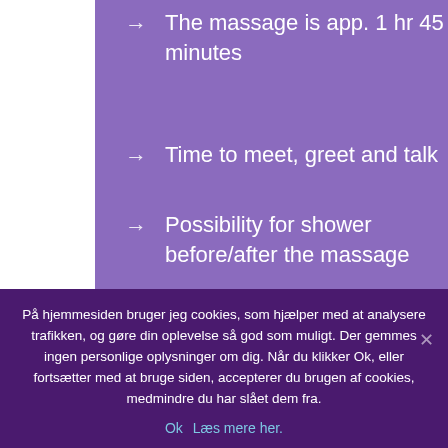The massage is app. 1 hr 45 minutes
Time to meet, greet and talk
Possibility for shower before/after the massage
Possibility for lingam massage if you wish
Resting 5-10 min. after the
På hjemmesiden bruger jeg cookies, som hjælper med at analysere trafikken, og gøre din oplevelse så god som muligt. Der gemmes ingen personlige oplysninger om dig. Når du klikker Ok, eller fortsætter med at bruge siden, accepterer du brugen af cookies, medmindre du har slået dem fra.
Ok  Læs mere her.